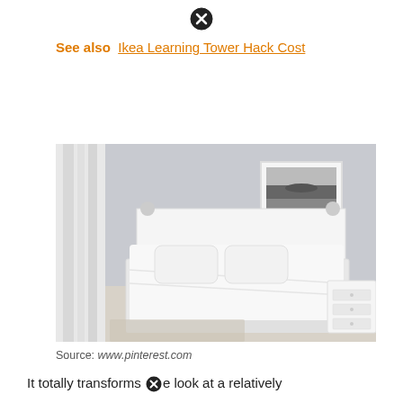[Figure (other): Close/X button icon at top center]
See also  Ikea Learning Tower Hack Cost
[Figure (photo): White IKEA bed in a minimalist bedroom with grey walls, small bedside table, and a framed black and white artwork on the wall. Source: www.pinterest.com]
Source: www.pinterest.com
It totally transforms the look at a relatively